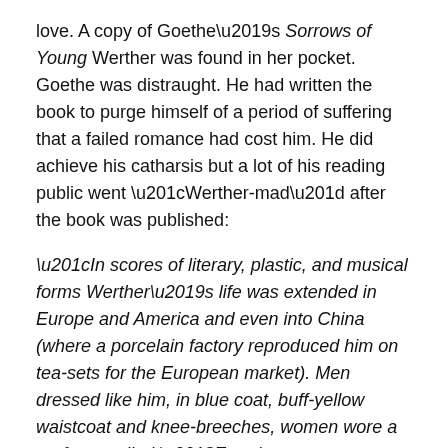love. A copy of Goethe's Sorrows of Young Werther was found in her pocket. Goethe was distraught. He had written the book to purge himself of a period of suffering that a failed romance had cost him. He did achieve his catharsis but a lot of his reading public went “Werther-mad” after the book was published:
“In scores of literary, plastic, and musical forms Werther’s life was extended in Europe and America and even into China (where a porcelain factory reproduced him on tea-sets for the European market). Men dressed like him, in blue coat, buff-yellow waistcoat and knee-breeches, women wore a perfume called ‘Eau de Werther’.”
(from the Introduction by David Constantine, Oxford World's Classics, Kindle edition)